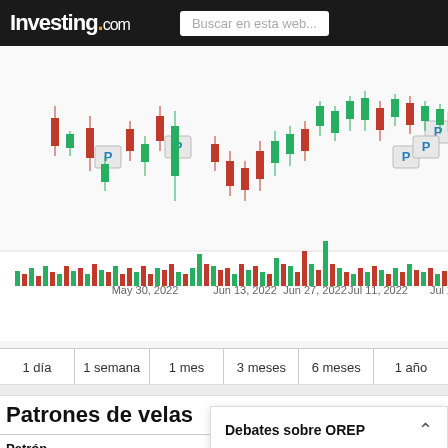Investing.com — Buscar en esta web...
[Figure (continuous-plot): Candlestick chart showing stock price from May 30, 2022 to Jul 25, 2022 with 'P' pattern markers. Below: volume bar chart with red/green bars. X-axis labels: May 30, 2022; Jun 13, 2022; Jun 27, 2022; Jul 11, 2022; Jul 25, 202. Watermark: Investing.com]
| 1 día | 1 semana | 1 mes | 3 meses | 6 meses | 1 año |
| --- | --- | --- | --- | --- | --- |
Patrones de velas
| Patrón | Plazo | Fiabilidad | Nº de velas a |
| --- | --- | --- | --- |
| Engulfinc |  |  |  |
Debates sobre OREP